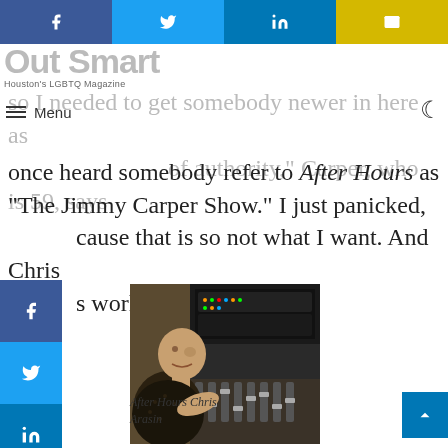Out Smart - Houston's LGBTQ Magazine
so I needed to get somebody newer in here as of authority," Carper, who is 59, says once heard somebody refer to After Hours as "The Jimmy Carper Show." I just panicked, because that is so not what I want. And Chris has worked out so well."
[Figure (photo): Person sitting at a radio studio console with broadcast equipment]
After Hours Chris Arasin